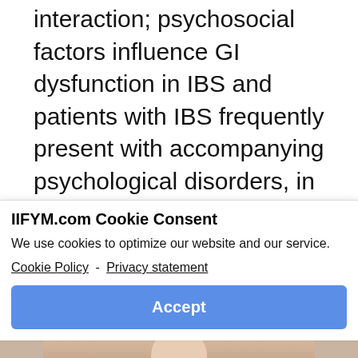interaction; psychosocial factors influence GI dysfunction in IBS and patients with IBS frequently present with accompanying psychological disorders, in particular, anxiety and depression (16; 17).
This is important because many of the underlying potential mechanisms of food
IIFYM.com Cookie Consent
We use cookies to optimize our website and our service.
Cookie Policy - Privacy statement
Accept
[Figure (photo): Partial photo of a person visible at the bottom of the page]